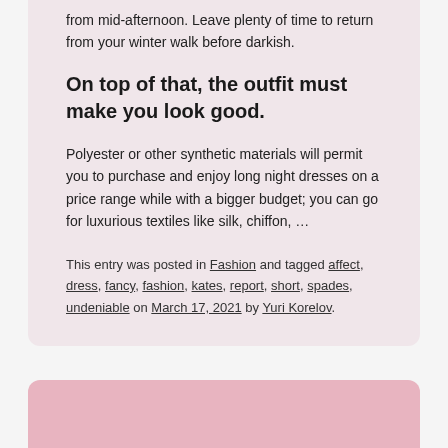from mid-afternoon. Leave plenty of time to return from your winter walk before darkish.
On top of that, the outfit must make you look good.
Polyester or other synthetic materials will permit you to purchase and enjoy long night dresses on a price range while with a bigger budget; you can go for luxurious textiles like silk, chiffon, …
This entry was posted in Fashion and tagged affect, dress, fancy, fashion, kates, report, short, spades, undeniable on March 17, 2021 by Yuri Korelov.